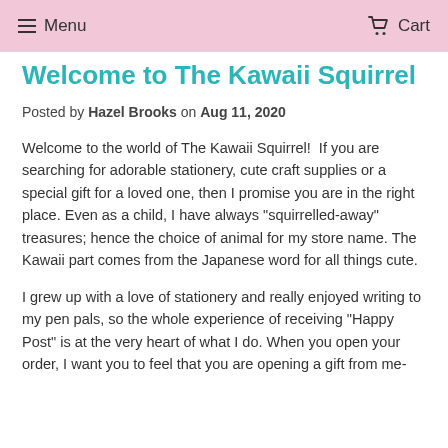Menu  Cart
Welcome to The Kawaii Squirrel
Posted by Hazel Brooks on Aug 11, 2020
Welcome to the world of The Kawaii Squirrel!  If you are searching for adorable stationery, cute craft supplies or a special gift for a loved one, then I promise you are in the right place. Even as a child, I have always "squirrelled-away" treasures; hence the choice of animal for my store name. The Kawaii part comes from the Japanese word for all things cute.
I grew up with a love of stationery and really enjoyed writing to my pen pals, so the whole experience of receiving "Happy Post" is at the very heart of what I do. When you open your order, I want you to feel that you are opening a gift from me-